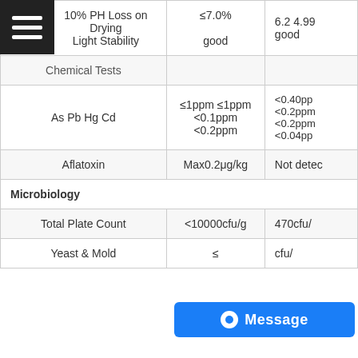| Test | Specification | Result |
| --- | --- | --- |
| 10% PH Loss on Drying
Light Stability | ≤7.0%
good | 6.2 4.99…
good |
| Chemical Tests |  |  |
| As Pb Hg Cd | ≤1ppm ≤1ppm
<0.1ppm <0.2ppm | <0.40pp…
<0.2ppm
<0.2ppm
<0.04pp… |
| Aflatoxin | Max0.2μg/kg | Not detec… |
| Microbiology |  |  |
| Total Plate Count | <10000cfu/g | 470cfu/… |
| Yeast & Mold | ≤… | …cfu/… |
[Figure (other): Blue Message button overlay with circle icon and text 'Message']